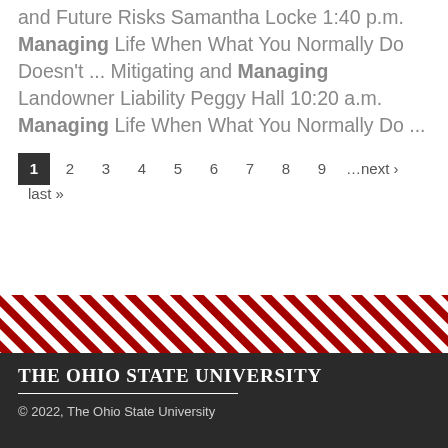and Future Risks Samantha Locke 1:40 p.m. Managing Life When What You Normally Do Doesn't ... Mitigating and Managing Landowner Liability Peggy Hall 10:20 a.m. Managing Life When What You Normally Do ...
1 2 3 4 5 6 7 8 9 …next › last »
[Figure (other): Diagonal red and white stripe decorative bar]
The Ohio State University
© 2022, The Ohio State University